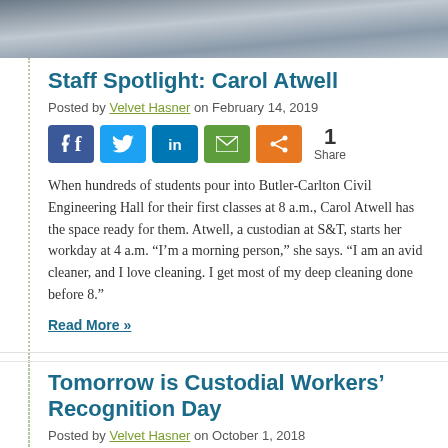[Figure (photo): Top portion of a photo showing a person in a building interior, partially cropped]
Staff Spotlight: Carol Atwell
Posted by Velvet Hasner on February 14, 2019
[Figure (infographic): Social sharing buttons: Facebook, Twitter, LinkedIn, Email, Share; with 1 Share count]
When hundreds of students pour into Butler-Carlton Civil Engineering Hall for their first classes at 8 a.m., Carol Atwell has the space ready for them. Atwell, a custodian at S&T, starts her workday at 4 a.m. “I’m a morning person,” she says. “I am an avid cleaner, and I love cleaning. I get most of my deep cleaning done before 8.”
Read More »
Tomorrow is Custodial Workers’ Recognition Day
Posted by Velvet Hasner on October 1, 2018
[Figure (infographic): Social sharing buttons row partially visible at bottom]